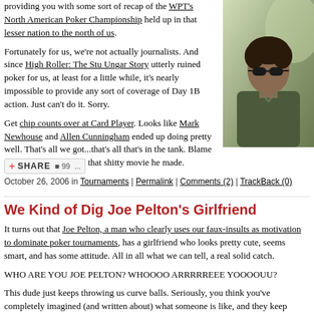providing you with some sort of recap of the WPT's North American Poker Championship held up in that lesser nation to the north of us.
Fortunately for us, we're not actually journalists. And since High Roller: The Stu Ungar Story utterly ruined poker for us, at least for a little while, it's nearly impossible to provide any sort of coverage of Day 1B action. Just can't do it. Sorry.
Get chip counts over at Card Player. Looks like Mark Newhouse and Allen Cunningham ended up doing pretty well. That's all we got...that's all that's in the tank. Blame Michael Imperioli and that shitty movie he made.
[Figure (photo): Photo of a man with dark curly hair wearing dark sunglasses and a dark shirt, sitting in front of a decorative background.]
October 26, 2006 in Tournaments | Permalink | Comments (2) | TrackBack (0)
We Kind of Dig Joe Pelton's Girlfriend
It turns out that Joe Pelton, a man who clearly uses our faux-insults as motivation to dominate poker tournaments, has a girlfriend who looks pretty cute, seems smart, and has some attitude. All in all what we can tell, a real solid catch.
WHO ARE YOU JOE PELTON? WHOOOO ARRRRREEE YOOOOUU?
This dude just keeps throwing us curve balls. Seriously, you think you've completely imagined (and written about) what someone is like, and they keep turning out to actually be something different. Fucking imaginations.
See Pelton's gf's blog here and pics here.